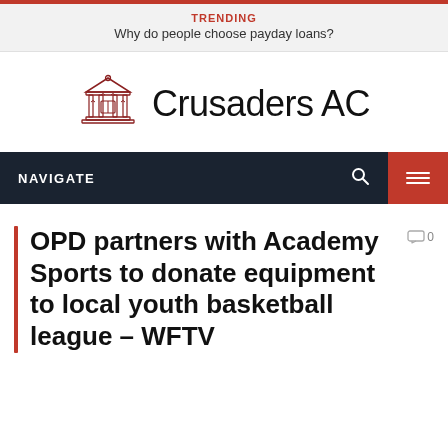TRENDING
Why do people choose payday loans?
[Figure (logo): Crusaders AC logo with building/pillars icon and text 'Crusaders AC']
NAVIGATE
OPD partners with Academy Sports to donate equipment to local youth basketball league – WFTV